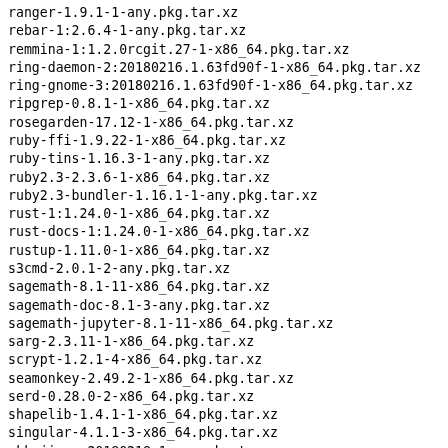ranger-1.9.1-1-any.pkg.tar.xz
rebar-1:2.6.4-1-any.pkg.tar.xz
remmina-1:1.2.0rcgit.27-1-x86_64.pkg.tar.xz
ring-daemon-2:20180216.1.63fd90f-1-x86_64.pkg.tar.xz
ring-gnome-3:20180216.1.63fd90f-1-x86_64.pkg.tar.xz
ripgrep-0.8.1-1-x86_64.pkg.tar.xz
rosegarden-17.12-1-x86_64.pkg.tar.xz
ruby-ffi-1.9.22-1-x86_64.pkg.tar.xz
ruby-tins-1.16.3-1-any.pkg.tar.xz
ruby2.3-2.3.6-1-x86_64.pkg.tar.xz
ruby2.3-bundler-1.16.1-1-any.pkg.tar.xz
rust-1:1.24.0-1-x86_64.pkg.tar.xz
rust-docs-1:1.24.0-1-x86_64.pkg.tar.xz
rustup-1.11.0-1-x86_64.pkg.tar.xz
s3cmd-2.0.1-2-any.pkg.tar.xz
sagemath-8.1-11-x86_64.pkg.tar.xz
sagemath-doc-8.1-3-any.pkg.tar.xz
sagemath-jupyter-8.1-11-x86_64.pkg.tar.xz
sarg-2.3.11-1-x86_64.pkg.tar.xz
scrypt-1.2.1-4-x86_64.pkg.tar.xz
seamonkey-2.49.2-1-x86_64.pkg.tar.xz
serd-0.28.0-2-x86_64.pkg.tar.xz
shapelib-1.4.1-1-x86_64.pkg.tar.xz
singular-4.1.1-3-x86_64.pkg.tar.xz
skk-jisyo-20180218-1-any.pkg.tar.xz
skrooge-2.11.0-2-x86_64.pkg.tar.xz
sleuthkit-4.6.0-1-x86_64.pkg.tar.xz
smbnetfs-0.6.1-1-x86_64.pkg.tar.xz
smem-1.5-1-x86_64.pkg.tar.xz
smokeping-2.7.1-1-any.pkg.tar.xz
smplayer-18.2.2-1-x86_64.pkg.tar.xz